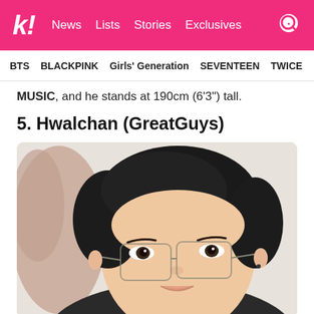k! News  Lists  Stories  Exclusives
BTS  BLACKPINK  Girls' Generation  SEVENTEEN  TWICE
MUSIC, and he stands at 190cm (6'3") tall.
5. Hwalchan (GreatGuys)
[Figure (photo): Selfie photo of Hwalchan from GreatGuys, a young Korean man with dark wavy hair and thin-framed square glasses, wearing a dark top, taken close-up]